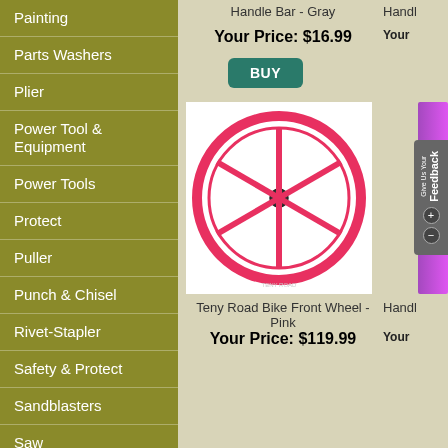Painting
Parts Washers
Plier
Power Tool & Equipment
Power Tools
Protect
Puller
Punch & Chisel
Rivet-Stapler
Safety & Protect
Sandblasters
Saw
Screwdrivers
Shop Supplies
Handle Bar - Gray
Your Price: $16.99
[Figure (photo): Pink Teny Road Bike Front Wheel with 6 spokes on white background]
Teny Road Bike Front Wheel - Pink
Your Price: $119.99
Handl...
Your...